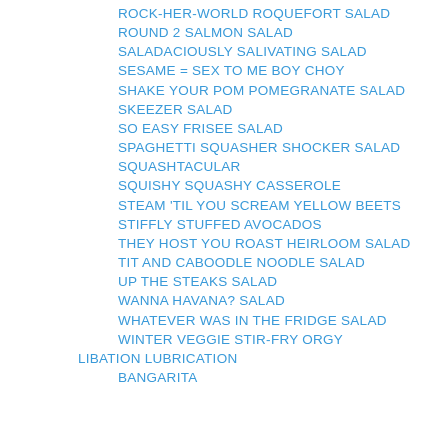ROCK-HER-WORLD ROQUEFORT SALAD
ROUND 2 SALMON SALAD
SALADACIOUSLY SALIVATING SALAD
SESAME = SEX TO ME BOY CHOY
SHAKE YOUR POM POMEGRANATE SALAD
SKEEZER SALAD
SO EASY FRISEE SALAD
SPAGHETTI SQUASHER SHOCKER SALAD
SQUASHTACULAR
SQUISHY SQUASHY CASSEROLE
STEAM 'TIL YOU SCREAM YELLOW BEETS
STIFFLY STUFFED AVOCADOS
THEY HOST YOU ROAST HEIRLOOM SALAD
TIT AND CABOODLE NOODLE SALAD
UP THE STEAKS SALAD
WANNA HAVANA? SALAD
WHATEVER WAS IN THE FRIDGE SALAD
WINTER VEGGIE STIR-FRY ORGY
LIBATION LUBRICATION
BANGARITA